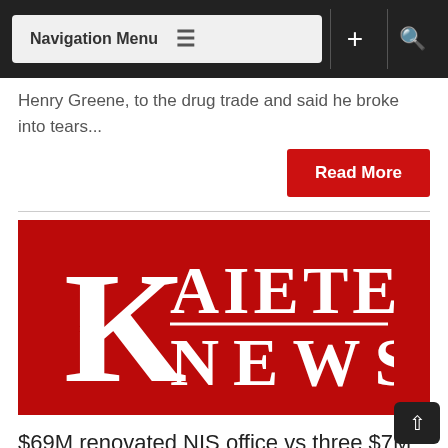Navigation Menu
Henry Greene, to the drug trade and said he broke into tears...
Read More
[Figure (logo): Kaieteur News logo — red background with large white serif K and the text KAIETEUR NEWS in white]
$69M renovated NIS office vs three $7M KN homes